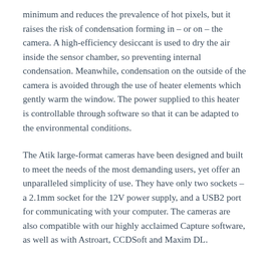minimum and reduces the prevalence of hot pixels, but it raises the risk of condensation forming in – or on – the camera. A high-efficiency desiccant is used to dry the air inside the sensor chamber, so preventing internal condensation. Meanwhile, condensation on the outside of the camera is avoided through the use of heater elements which gently warm the window. The power supplied to this heater is controllable through software so that it can be adapted to the environmental conditions.
The Atik large-format cameras have been designed and built to meet the needs of the most demanding users, yet offer an unparalleled simplicity of use. They have only two sockets – a 2.1mm socket for the 12V power supply, and a USB2 port for communicating with your computer. The cameras are also compatible with our highly acclaimed Capture software, as well as with Astroart, CCDSoft and Maxim DL.